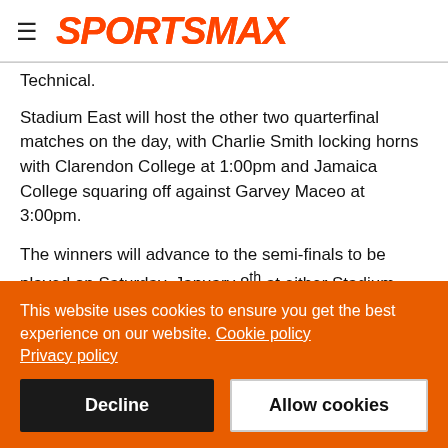≡ SPORTSMAX
Technical.
Stadium East will host the other two quarterfinal matches on the day, with Charlie Smith locking horns with Clarendon College at 1:00pm and Jamaica College squaring off against Garvey Maceo at 3:00pm.
The winners will advance to the semi-finals to be played on Saturday, January 8th at either Stadium East or the National Stadium with the final scheduled to be played on January 15th
This website uses cookies to ensure you get the best experience on our website. Cookie policy
Privacy policy
Decline | Allow cookies